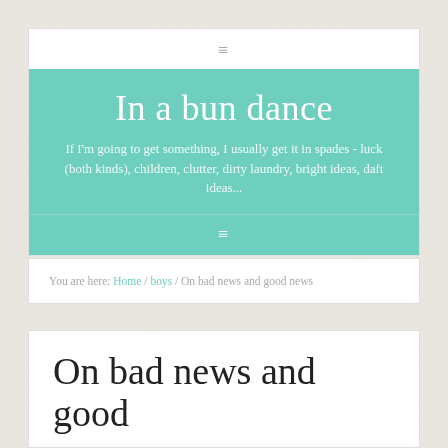≡
In a bun dance
If I'm going to get something, I usually get it in spades - luck (both kinds), children, clutter, dirty laundry, bright ideas, daft ideas...
You are here: Home / boys / On bad news and good news
On bad news and good